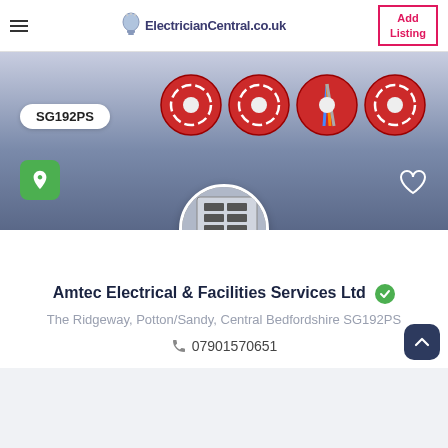ElectricianCentral.co.uk | Add Listing
[Figure (screenshot): Hero banner showing red electrical junction boxes/ceiling roses and a circular profile image of circuit breaker panel. Includes SG192PS postcode badge, green location pin icon, and white heart icon.]
Amtec Electrical & Facilities Services Ltd ✓
The Ridgeway, Potton/Sandy, Central Bedfordshire SG192PS
07901570651